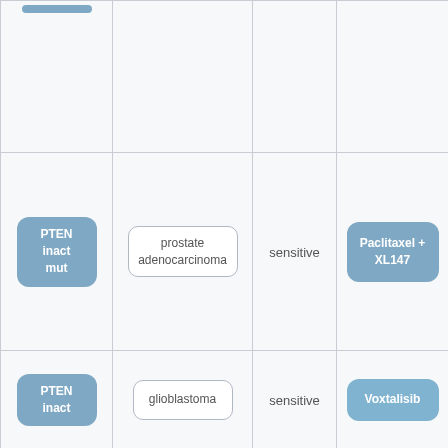| Biomarker | Cancer Type | Response | Treatment |
| --- | --- | --- | --- |
|  |  |  |  |
| PTEN inact mut | prostate adenocarcinoma | sensitive | Paclitaxel + XL147 |
| PTEN inact | glioblastoma | sensitive | Voxtalisib |